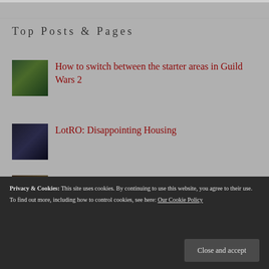Top Posts & Pages
How to switch between the starter areas in Guild Wars 2
LotRO: Disappointing Housing
Is there a game like Defiance?
Guild Wars...
Privacy & Cookies: This site uses cookies. By continuing to use this website, you agree to their use. To find out more, including how to control cookies, see here: Our Cookie Policy
Close and accept